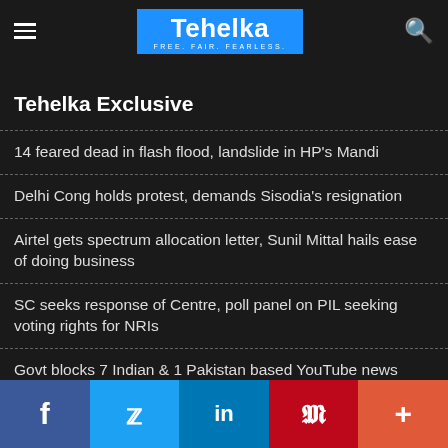Tehelka — FREE. FAIR. FEARLESS.
Tehelka Exclusive
14 feared dead in flash flood, landslide in HP's Mandi
Delhi Cong holds protest, demands Sisodia's resignation
Airtel gets spectrum allocation letter, Sunil Mittal hails ease of doing business
SC seeks response of Centre, poll panel on PIL seeking voting rights for NRIs
Govt blocks 7 Indian & 1 Pakistan based YouTube news channels
Facebook | Twitter | LinkedIn | Pinterest | More